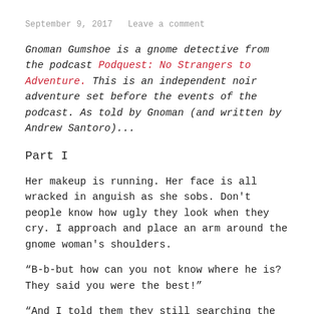September 9, 2017   Leave a comment
Gnoman Gumshoe is a gnome detective from the podcast Podquest: No Strangers to Adventure. This is an independent noir adventure set before the events of the podcast. As told by Gnoman (and written by Andrew Santoro)...
Part I
Her makeup is running. Her face is all wracked in anguish as she sobs. Don't people know how ugly they look when they cry. I approach and place an arm around the gnome woman's shoulders.
“B-b-but how can you not know where he is? They said you were the best!”
“And I told them they still searching the man. Stella. What